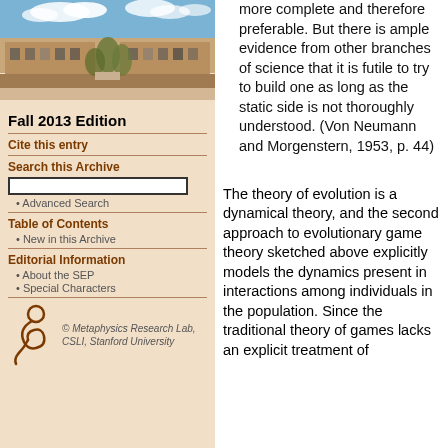[Figure (photo): Aerial/exterior photo of a stone university building with courtyard and blue sky with clouds]
Fall 2013 Edition
Cite this entry
Search this Archive
Advanced Search
Table of Contents
New in this Archive
Editorial Information
About the SEP
Special Characters
[Figure (logo): Metaphysics Research Lab, CSLI, Stanford University logo with stylized figure]
more complete and therefore preferable. But there is ample evidence from other branches of science that it is futile to try to build one as long as the static side is not thoroughly understood. (Von Neumann and Morgenstern, 1953, p. 44)
The theory of evolution is a dynamical theory, and the second approach to evolutionary game theory sketched above explicitly models the dynamics present in interactions among individuals in the population. Since the traditional theory of games lacks an explicit treatment of